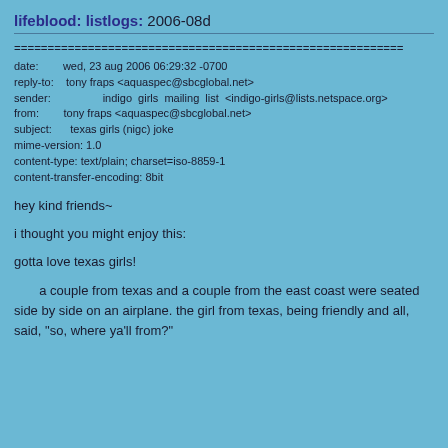lifeblood: listlogs: 2006-08d
================================================================================
date:        wed, 23 aug 2006 06:29:32 -0700
reply-to:    tony fraps <aquaspec@sbcglobal.net>
sender:                  indigo  girls  mailing  list  <indigo-girls@lists.netspace.org>
from:        tony fraps <aquaspec@sbcglobal.net>
subject:      texas girls (nigc) joke
mime-version: 1.0
content-type: text/plain; charset=iso-8859-1
content-transfer-encoding: 8bit
hey kind friends~
i thought you might enjoy this:
gotta love texas girls!
a couple from texas and a couple from the east coast were seated side by side on an airplane. the girl from texas, being friendly and all, said, "so, where ya'll from?"